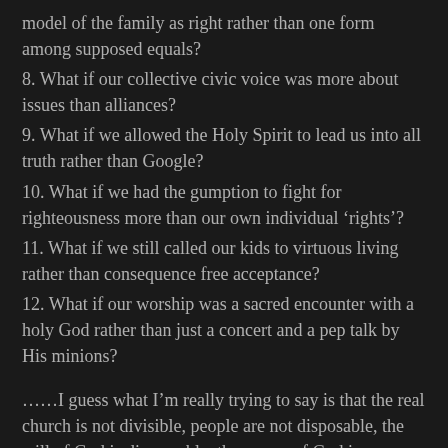model of the family as right rather than one form among supposed equals?
8. What if our collective civic voice was more about issues than alliances?
9. What if we allowed the Holy Spirit to lead us into all truth rather than Google?
10. What if we had the gumption to fight for righteousness more than our own individual ‘rights’?
11. What if we still called our kids to virtuous living rather than consequence free acceptance?
12. What if our worship was a sacred encounter with a holy God rather than just a concert and a pep talk by His minions?
……I guess what I’m really trying to say is that the real church is not divisible, people are not disposable, the will of God is discernable, the power of God is available, and the Great Commission is doable?! Roll